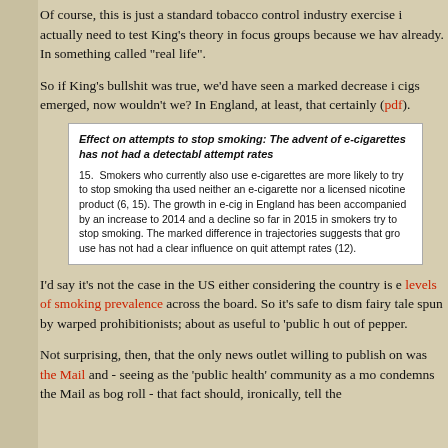Of course, this is just a standard tobacco control industry exercise in actually need to test King's theory in focus groups because we have already. In something called "real life".
So if King's bullshit was true, we'd have seen a marked decrease in cigs emerged, now wouldn't we? In England, at least, that certainly h (pdf).
[Figure (screenshot): Excerpt from a document showing text: 'Effect on attempts to stop smoking: The advent of e-cigarettes has not had a detectable effect on attempt rates'. Paragraph 15 describes smokers who use e-cigarettes and quit attempt rates.]
I'd say it's not the case in the US either considering the country is ex levels of smoking prevalence across the board. So it's safe to dismiss fairy tale spun by warped prohibitionists; about as useful to 'public h out of pepper.
Not surprising, then, that the only news outlet willing to publish on K was the Mail and - seeing as the 'public health' community as a mov condemns the Mail as bog roll - that fact should, ironically, tell them